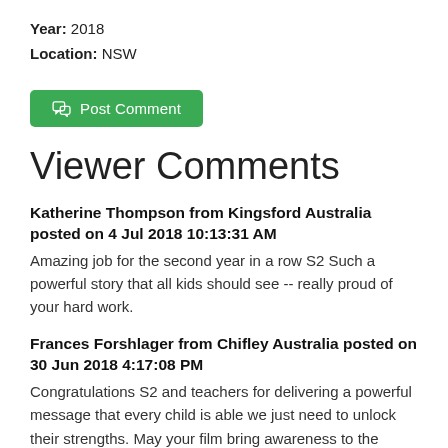Year: 2018
Location: NSW
[Figure (other): Green 'Post Comment' button with speech bubble icon]
Viewer Comments
Katherine Thompson from Kingsford Australia posted on 4 Jul 2018 10:13:31 AM
Amazing job for the second year in a row S2 Such a powerful story that all kids should see -- really proud of your hard work.
Frances Forshlager from Chifley Australia posted on 30 Jun 2018 4:17:08 PM
Congratulations S2 and teachers for delivering a powerful message that every child is able we just need to unlock their strengths. May your film bring awareness to the wider community because a pair of